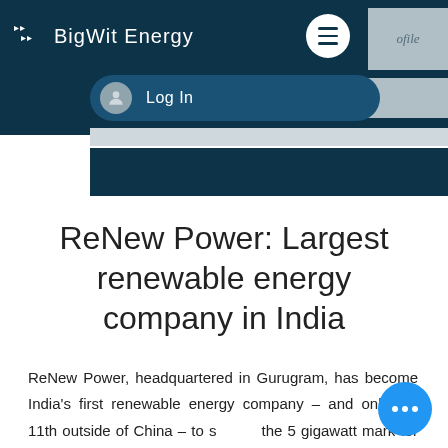[Figure (screenshot): BigWit Energy website header with dark teal navigation bar, hamburger menu icon, profile area, and Log In pill button]
ReNew Power: Largest renewable energy company in India
ReNew Power, headquartered in Gurugram, has become India's first renewable energy company – and only the 11th outside of China – to surpass the 5 gigawatt mark for clean energy